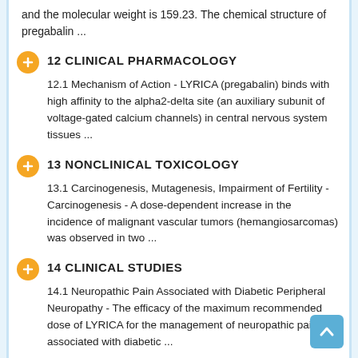and the molecular weight is 159.23. The chemical structure of pregabalin ...
12 CLINICAL PHARMACOLOGY
12.1 Mechanism of Action - LYRICA (pregabalin) binds with high affinity to the alpha2-delta site (an auxiliary subunit of voltage-gated calcium channels) in central nervous system tissues ...
13 NONCLINICAL TOXICOLOGY
13.1 Carcinogenesis, Mutagenesis, Impairment of Fertility - Carcinogenesis - A dose-dependent increase in the incidence of malignant vascular tumors (hemangiosarcomas) was observed in two ...
14 CLINICAL STUDIES
14.1 Neuropathic Pain Associated with Diabetic Peripheral Neuropathy - The efficacy of the maximum recommended dose of LYRICA for the management of neuropathic pain associated with diabetic ...
16 HOW SUPPLIED/STORAGE AND HANDLING
25 mg capsules: White, hard-gelatin capsule printed with black ink "Pfizer" on the cap, "PGN 25" on the body; available ...